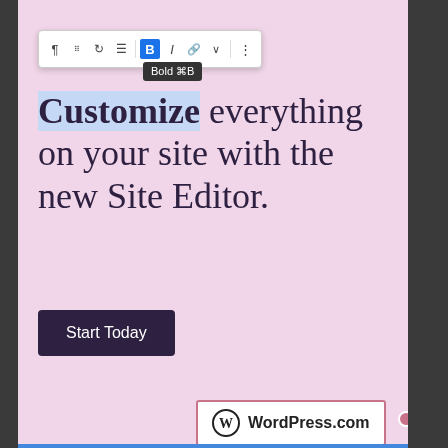[Figure (screenshot): WordPress.com ad in a pink background with a toolbar at top showing Bold tooltip, headline text 'Customize everything on your site with the new Site Editor.', a 'Start Today' dark button, and a WordPress.com logo selection box with resize handles and 'Add caption' text.]
REPORT THIS AD
Share this:
Privacy & Cookies: This site uses cookies. By continuing to use this website, you agree to their use.
To find out more, including how to control cookies, see here: Cookie Policy